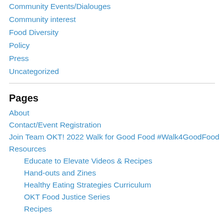Community Events/Dialouges
Community interest
Food Diversity
Policy
Press
Uncategorized
Pages
About
Contact/Event Registration
Join Team OKT! 2022 Walk for Good Food #Walk4GoodFood
Resources
Educate to Elevate Videos & Recipes
Hand-outs and Zines
Healthy Eating Strategies Curriculum
OKT Food Justice Series
Recipes